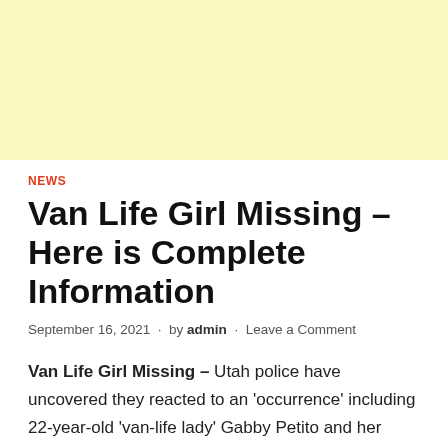[Figure (other): Light yellow advertisement banner placeholder at the top of the page]
NEWS
Van Life Girl Missing – Here is Complete Information
September 16, 2021  ·  by admin  ·  Leave a Comment
Van Life Girl Missing – Utah police have uncovered they reacted to an 'occurrence' including 22-year-old 'van-life lady' Gabby Petito and her beau, only fourteen days before she was most recently seen in Wyoming.